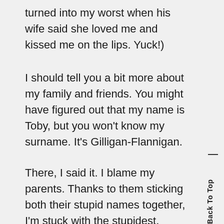turned into my worst when his wife said she loved me and kissed me on the lips. Yuck!)
I should tell you a bit more about my family and friends. You might have figured out that my name is Toby, but you won't know my surname. It's Gilligan-Flannigan.
There, I said it. I blame my parents. Thanks to them sticking both their stupid names together, I'm stuck with the stupidest, longest name in the school. All I want is to be called Smith or White. Then I
Back To Top